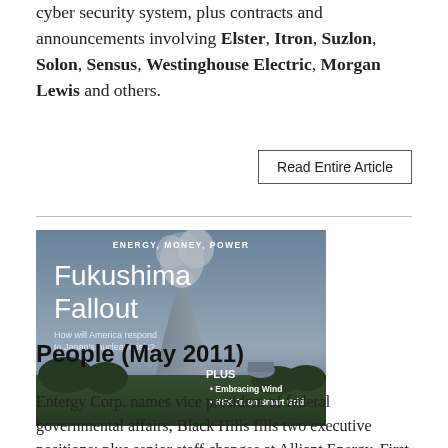cyber security system, plus contracts and announcements involving Elster, Itron, Suzlon, Solon, Sensus, Westinghouse Electric, Morgan Lewis and others.
Read Entire Article
[Figure (illustration): Magazine cover with text 'ENERGY, MONEY, POWER' at top, title 'Fukushima Fallout', subtitle 'How will America respond to Japan's nuclear crisis?', and PLUS section listing 'Embracing Wind' and 'RFK Jr. on Smart Grid'. Background shows a nuclear cooling tower with steam.]
People (May 2011)
Entergy Corp. names vice president of federal governmental affairs; Black Hills fills two executive positions; plus senior staff changes at Alliant Energy, First